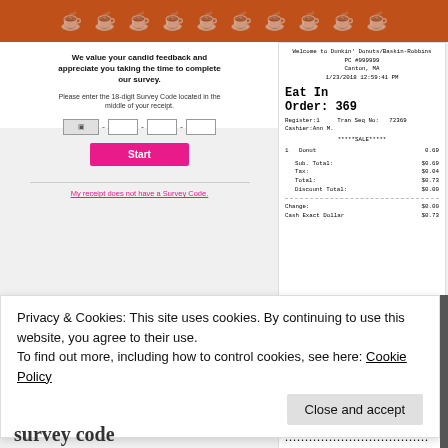[Figure (screenshot): Orange Dunkin Donuts decorative banner with cup icons]
We value your candid feedback and appreciate you taking the time to complete our survey.
Please enter the 18-digit Survey Code located in the middle of your receipt.
Start
My receipt does not have a Survey Code.
[Figure (photo): Dunkin Donuts / Baskin-Robbins receipt showing order 369, Eat In, Canton MA, 1/23/2018 12:59:41 PM, 1 Donut 0.69, Sub Total $0.69, Tax $0.04, Total $0.73, Discount Total $0.00, Change $0.00, Cash Exact Dollar $0.73. Survey code 36901-99999-1201-2386 circled in red.]
Privacy & Cookies: This site uses cookies. By continuing to use this website, you agree to their use.
To find out more, including how to control cookies, see here: Cookie Policy
Close and accept
survey code